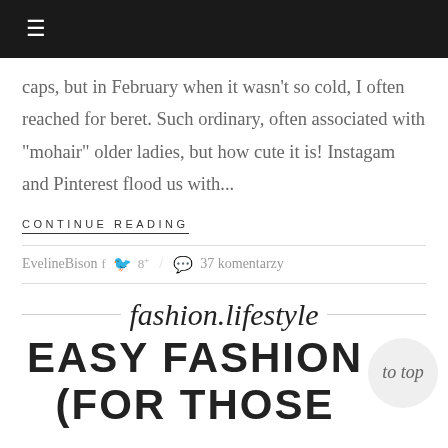≡
caps, but in February when it wasn't so cold, I often reached for beret. Such ordinary, often associated with "mohair" older ladies, but how cute it is! Instagam and Pinterest flood us with...
CONTINUE READING
EvelineBison f 🐦 g+ / 💬 37 komentarzy
fashion.lifestyle
EASY FASHION (FOR THOSE